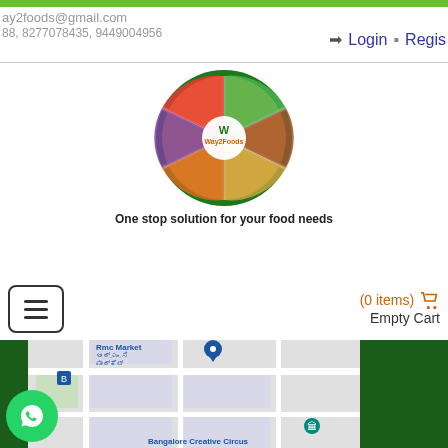ay2foods@gmail.com
88, 8277078435, 9449004956
Login  Regis
[Figure (logo): Way2Foods circular logo with food sections and tagline: One stop solution for your food needs]
(0 items)  Empty Cart
[Figure (map): Google Maps snippet showing Rmc Market area in Bangalore with Kannada text labels and Bangalore Creative Circus marker]